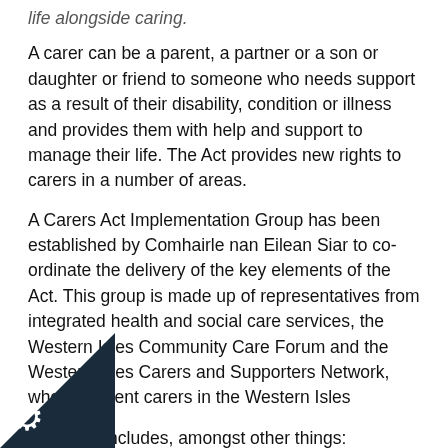life alongside caring.
A carer can be a parent, a partner or a son or daughter or friend to someone who needs support as a result of their disability, condition or illness and provides them with help and support to manage their life. The Act provides new rights to carers in a number of areas.
A Carers Act Implementation Group has been established by Comhairle nan Eilean Siar to co-ordinate the delivery of the key elements of the Act. This group is made up of representatives from integrated health and social care services, the Western Isles Community Care Forum and the Western Isles Carers and Supporters Network, who represent carers in the Western Isles
The Act [external link] includes, amongst other things:
a duty on Local Authorities and NHS Boards to involve carers in the delivery and planning of services including hospital discharge
a duty on Local Authorities and NHS Boards to involve carers in the development of Local Carer Strategies setting out how they will deliver the requirements of the Carers Act over a three year period.
a duty on Local Authorities to provide support to carers